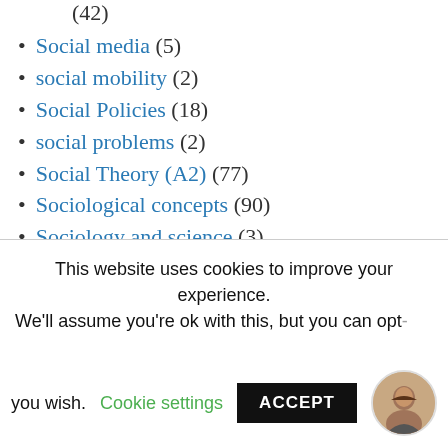(42)
Social media (5)
social mobility (2)
Social Policies (18)
social problems (2)
Social Theory (A2) (77)
Sociological concepts (90)
Sociology and science (3)
Sociology in the News (32)
Sociology on TV (18)
This website uses cookies to improve your experience. We'll assume you're ok with this, but you can opt-out if you wish. Cookie settings ACCEPT